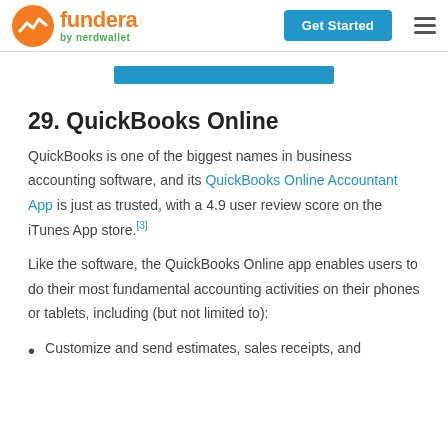fundera by nerdwallet | Get Started
29. QuickBooks Online
QuickBooks is one of the biggest names in business accounting software, and its QuickBooks Online Accountant App is just as trusted, with a 4.9 user review score on the iTunes App store.[3]
Like the software, the QuickBooks Online app enables users to do their most fundamental accounting activities on their phones or tablets, including (but not limited to):
Customize and send estimates, sales receipts, and